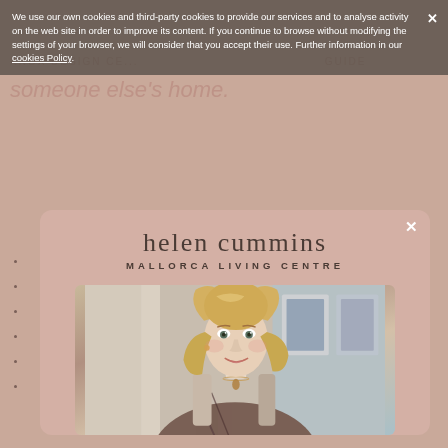We use our own cookies and third-party cookies to provide our services and to analyse activity on the web site in order to improve its content. If you continue to browse without modifying the settings of your browser, we will consider that you accept their use. Further information in our cookies Policy.
someone else's home.
[Figure (logo): helen cummins MALLORCA LIVING CENTRE logo with modal popup containing a photo of a blonde woman smiling indoors]
[Figure (photo): Portrait photo of a smiling blonde woman wearing a sleeveless patterned top with a pendant necklace, indoor setting with artwork visible in background]